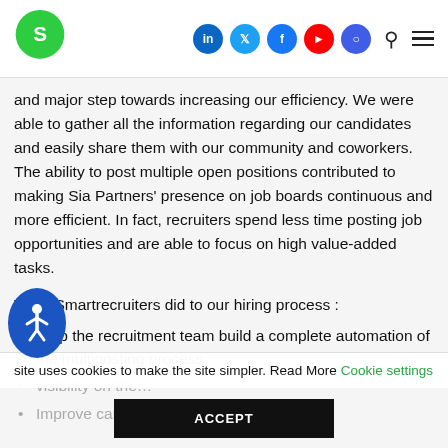Smartrecruiters logo and navigation with social icons (LinkedIn, Twitter, Facebook, YouTube, Instagram), search, and menu
and major step towards increasing our efficiency. We were able to gather all the information regarding our candidates and easily share them with our community and coworkers. The ability to post multiple open positions contributed to making Sia Partners' presence on job boards continuous and more efficient. In fact, recruiters spend less time posting job opportunities and are able to focus on high value-added tasks.
What Smartrecruiters did to our hiring process :
Help the recruitment team build a complete automation of the multiposting process
visibility on the…
Improve candidate experience in using…
This site uses cookies to make the site simpler. Read More Cookie settings
ACCEPT